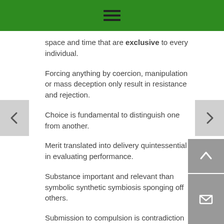≡
space and time that are exclusive to every individual.
Forcing anything by coercion, manipulation or mass deception only result in resistance and rejection.
Choice is fundamental to distinguish one from another.
Merit translated into delivery quintessential in evaluating performance.
Substance important and relevant than symbolic synthetic symbiosis sponging off others.
Submission to compulsion is contradiction to selection and option.
Choice is the ultimate choice in living a life without having to pay a price in self-sacrifice.
Thank you.